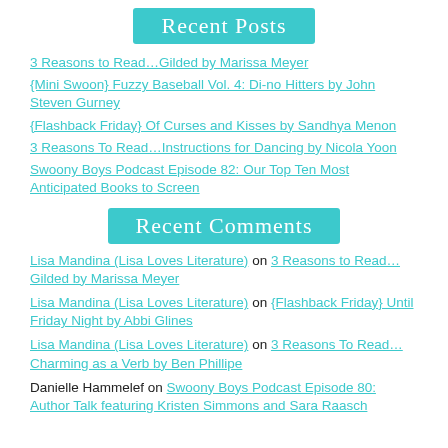Recent Posts
3 Reasons to Read…Gilded by Marissa Meyer
{Mini Swoon} Fuzzy Baseball Vol. 4: Di-no Hitters by John Steven Gurney
{Flashback Friday} Of Curses and Kisses by Sandhya Menon
3 Reasons To Read…Instructions for Dancing by Nicola Yoon
Swoony Boys Podcast Episode 82: Our Top Ten Most Anticipated Books to Screen
Recent Comments
Lisa Mandina (Lisa Loves Literature) on 3 Reasons to Read…Gilded by Marissa Meyer
Lisa Mandina (Lisa Loves Literature) on {Flashback Friday} Until Friday Night by Abbi Glines
Lisa Mandina (Lisa Loves Literature) on 3 Reasons To Read…Charming as a Verb by Ben Phillipe
Danielle Hammelef on Swoony Boys Podcast Episode 80: Author Talk featuring Kristen Simmons and Sara Raasch